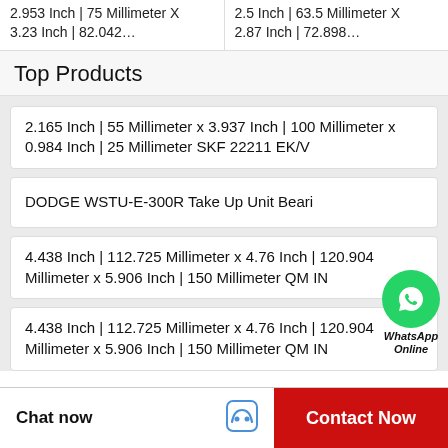2.953 Inch | 75 Millimeter X 3.23 Inch | 82.042…
2.5 Inch | 63.5 Millimeter X 2.87 Inch | 72.898…
Top Products
2.165 Inch | 55 Millimeter x 3.937 Inch | 100 Millimeter x 0.984 Inch | 25 Millimeter SKF 22211 EK/V
DODGE WSTU-E-300R Take Up Unit Bearing
4.438 Inch | 112.725 Millimeter x 4.76 Inch | 120.904 Millimeter x 5.906 Inch | 150 Millimeter QM IN
4.438 Inch | 112.725 Millimeter x 4.76 Inch | 120.904 Millimeter x 5.906 Inch | 150 Millimeter QM IN
[Figure (illustration): WhatsApp contact bubble with green circle phone icon and text 'WhatsApp Online']
Chat now
Contact Now